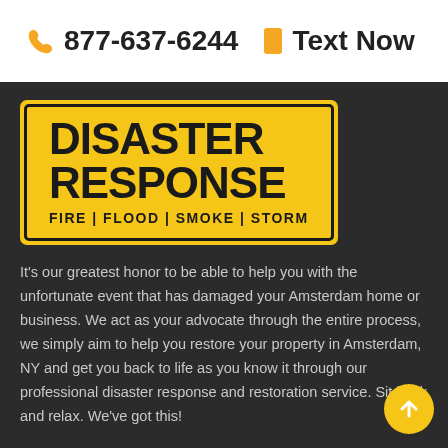877-637-6244   Text Now
[Figure (logo): Disaster Response logo on yellow background with black border. Text reads: DISASTER RESPONSE FIRE | FLOOD | SMOKE | STORM]
It's our greatest honor to be able to help you with the unfortunate event that has damaged your Amsterdam home or business. We act as your advocate through the entire process, we simply aim to help you restore your property in Amsterdam, NY and get you back to life as you know it through our professional disaster response and restoration service. Sit back and relax. We've got this!